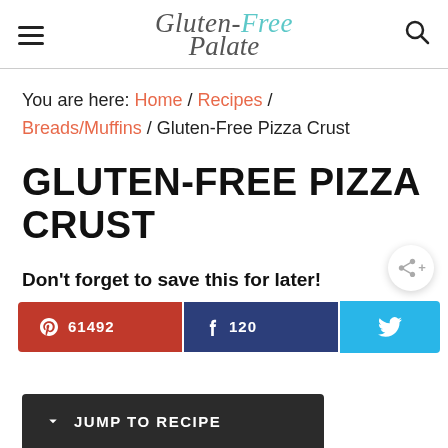Gluten-Free Palate
You are here: Home / Recipes / Breads/Muffins / Gluten-Free Pizza Crust
GLUTEN-FREE PIZZA CRUST
Don't forget to save this for later!
Pinterest: 61492 | Facebook: 120 | Twitter | 61612 SHARES
JUMP TO RECIPE